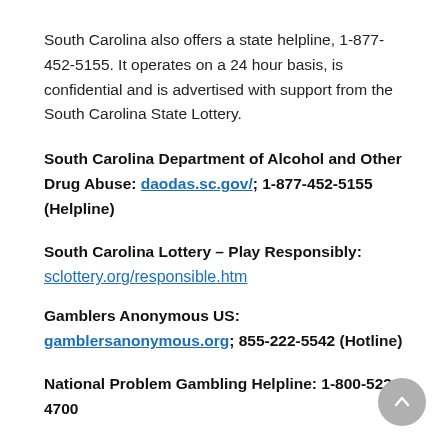South Carolina also offers a state helpline, 1-877-452-5155. It operates on a 24 hour basis, is confidential and is advertised with support from the South Carolina State Lottery.
South Carolina Department of Alcohol and Other Drug Abuse: daodas.sc.gov/; 1-877-452-5155 (Helpline)
South Carolina Lottery – Play Responsibly: sclottery.org/responsible.htm
Gamblers Anonymous US: gamblersanonymous.org; 855-222-5542 (Hotline)
National Problem Gambling Helpline: 1-800-522-4700